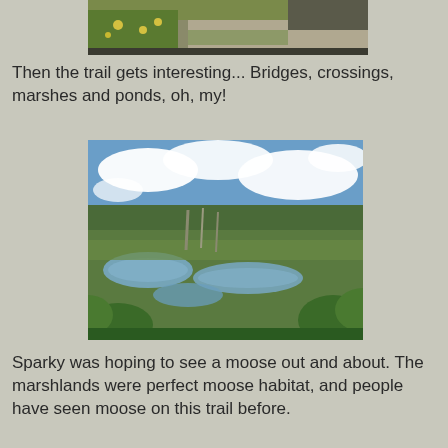[Figure (photo): Partial photo at top of page showing a trail with yellow wildflowers and gravel path, cropped at top]
Then the trail gets interesting... Bridges, crossings, marshes and ponds, oh, my!
[Figure (photo): Landscape photo of a marsh/wetland area with pools of water reflecting blue sky with clouds, surrounded by trees including dead standing trees, and green shrubs in foreground]
Sparky was hoping to see a moose out and about. The marshlands were perfect moose habitat, and people have seen moose on this trail before.